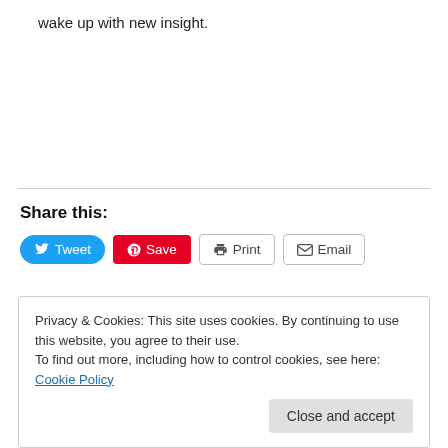wake up with new insight.
Share this:
[Figure (screenshot): Social sharing buttons: Tweet (Twitter/blue), Save (Pinterest/red), Print (outline), Email (outline)]
Privacy & Cookies: This site uses cookies. By continuing to use this website, you agree to their use.
To find out more, including how to control cookies, see here: Cookie Policy
Close and accept